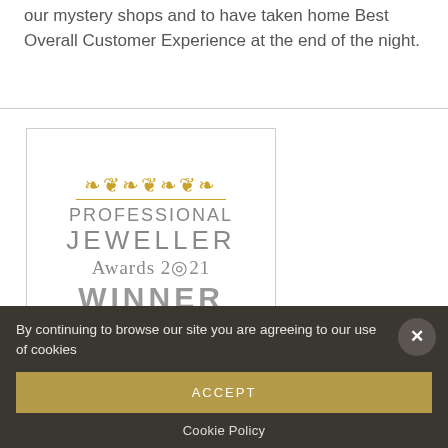our mystery shops and to have taken home Best Overall Customer Experience at the end of the night.
[Figure (logo): Professional Jeweller Awards 2021 Winner badge with gold ornamental decorations top and bottom, grey text reading PROFESSIONAL JEWELLER Awards 2021 WINNER]
By continuing to browse our site you are agreeing to our use of cookies
ACCEPT
Cookie Policy